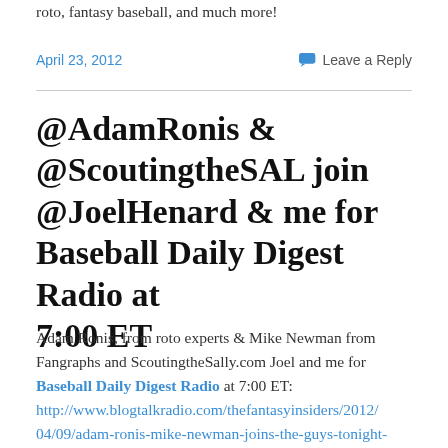roto, fantasy baseball, and much more!
April 23, 2012
Leave a Reply
@AdamRonis & @ScoutingtheSAL join @JoelHenard & me for Baseball Daily Digest Radio at 7:00 ET
Adam Ronis, from roto experts & Mike Newman from Fangraphs and ScoutingtheSally.com Joel and me for Baseball Daily Digest Radio at 7:00 ET: http://www.blogtalkradio.com/thefantasyinsiders/2012/04/09/adam-ronis-mike-newman-joins-the-guys-tonight-